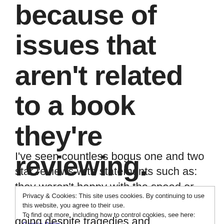because of issues that aren't related to a book they're reviewing.
I've seen countless bogus one and two star reviews with statements such as: they weren't happy with the speed or
Privacy & Cookies: This site uses cookies. By continuing to use this website, you agree to their use.
To find out more, including how to control cookies, see here: Cookie Policy
Close and accept
going despite tragedies and circumstances that can